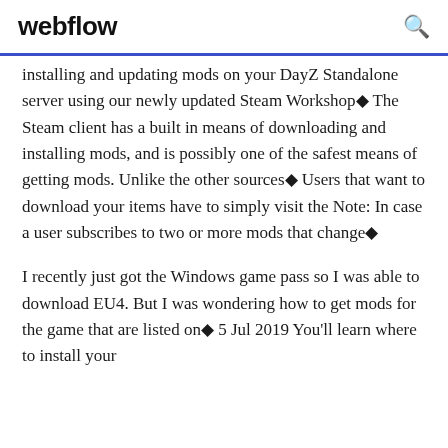webflow
installing and updating mods on your DayZ Standalone server using our newly updated Steam Workshop◆ The Steam client has a built in means of downloading and installing mods, and is possibly one of the safest means of getting mods. Unlike the other sources◆ Users that want to download your items have to simply visit the Note: In case a user subscribes to two or more mods that change◆
I recently just got the Windows game pass so I was able to download EU4. But I was wondering how to get mods for the game that are listed on◆ 5 Jul 2019 You'll learn where to install your